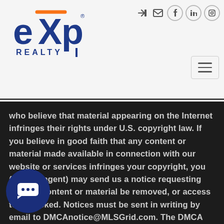[Figure (logo): eXp Realty logo — blue stylized 'eXp' text with orange X accent, 'REALTY' text below]
who believe that material appearing on the Internet infringes their rights under U.S. copyright law. If you believe in good faith that any content or material made available in connection with our website or services infringes your copyright, you (or your agent) may send us a notice requesting that the content or material be removed, or access to it blocked. Notices must be sent in writing by email to DMCAnotice@MLSGrid.com. The DMCA requires that your notice of alleged copyright infringement include the following information: (1) description of the copyrighted work that is the subject of [the] infringement; (2) description of the alleged infringing content and information sufficient to permit us